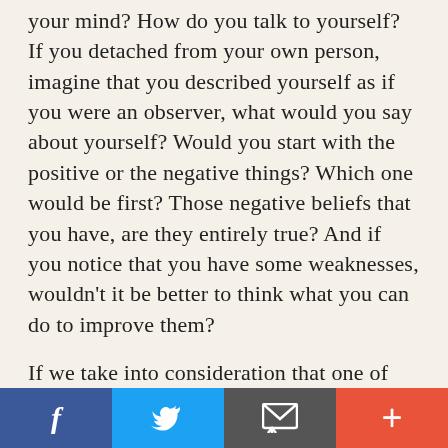your mind? How do you talk to yourself? If you detached from your own person, imagine that you described yourself as if you were an observer, what would you say about yourself? Would you start with the positive or the negative things? Which one would be first? Those negative beliefs that you have, are they entirely true? And if you notice that you have some weaknesses, wouldn't it be better to think what you can do to improve them?

If we take into consideration that one of the most important causes of self-sabotage refers to
[Figure (other): Social sharing bar with four buttons: Facebook (blue), Twitter (light blue), Email/message (dark grey), and Plus/more (orange-red)]